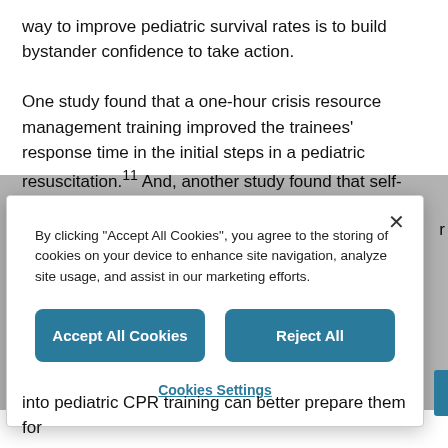way to improve pediatric survival rates is to build bystander confidence to take action.
One study found that a one-hour crisis resource management training improved the trainees' response time in the initial steps in a pediatric resuscitation.11 And, another study found that self-efficacy increased and anticipated anxiety about CPR decreased one month after
[Figure (screenshot): Cookie consent modal dialog with close button (×), text about cookie policy, 'Accept All Cookies' and 'Reject All' buttons, and 'Cookies Settings' link.]
into pediatric CPR training can better prepare them for